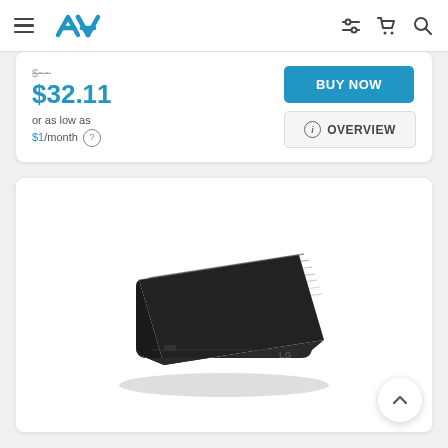AVA store navigation bar with hamburger menu, AVA logo, filter/sort icon, cart icon, search icon
$32.11 or as low as $1/month
BUY NOW
i OVERVIEW
[Figure (photo): LG external slim DVD/CD drive, black, viewed from a slight angle above, showing the top surface with subtle brushed texture and LG logo on the front-right corner.]